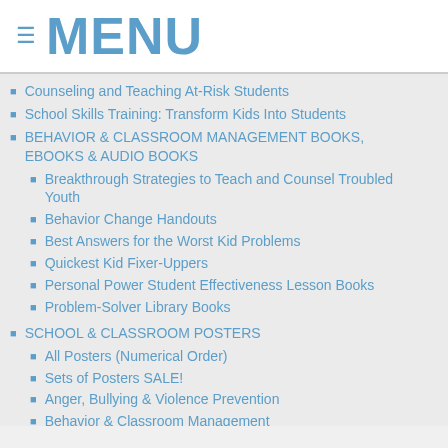≡ MENU
Counseling and Teaching At-Risk Students
School Skills Training: Transform Kids Into Students
BEHAVIOR & CLASSROOM MANAGEMENT BOOKS, EBOOKS & AUDIO BOOKS
Breakthrough Strategies to Teach and Counsel Troubled Youth
Behavior Change Handouts
Best Answers for the Worst Kid Problems
Quickest Kid Fixer-Uppers
Personal Power Student Effectiveness Lesson Books
Problem-Solver Library Books
SCHOOL & CLASSROOM POSTERS
All Posters (Numerical Order)
Sets of Posters SALE!
Anger, Bullying & Violence Prevention
Behavior & Classroom Management
Budget Classroom Posters SALE!
Career and Vocational Ed
Counseling & School Guidance
Elementary & Primary…